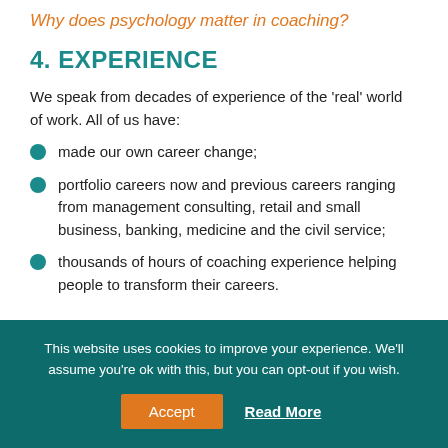Why does psychology matter in coaching?
4. EXPERIENCE
We speak from decades of experience of the 'real' world of work. All of us have:
made our own career change;
portfolio careers now and previous careers ranging from management consulting, retail and small business, banking, medicine and the civil service;
thousands of hours of coaching experience helping people to transform their careers.
This website uses cookies to improve your experience. We'll assume you're ok with this, but you can opt-out if you wish.